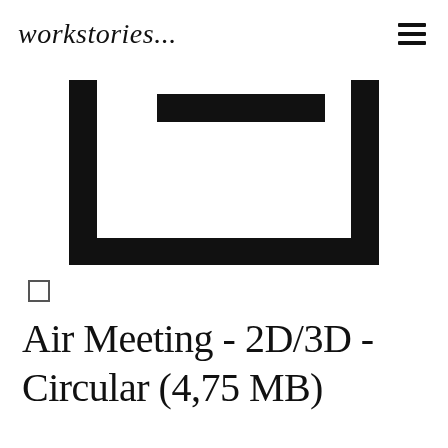workstories...
[Figure (illustration): Minimalist line-art icon of a sofa/couch viewed from the front: a U-shaped base with a rectangular headrest bar across the top center, all in solid black on white background.]
☐ (checkbox)
Air Meeting - 2D/3D - Circular (4,75 MB)